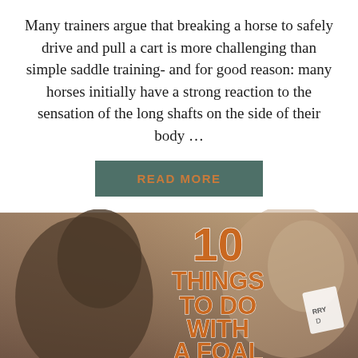Many trainers argue that breaking a horse to safely drive and pull a cart is more challenging than simple saddle training- and for good reason: many horses initially have a strong reaction to the sensation of the long shafts on the side of their body …
READ MORE
[Figure (photo): Photo of horses/foals with orange bold text overlay reading '10 THINGS TO DO WITH A FOAL']